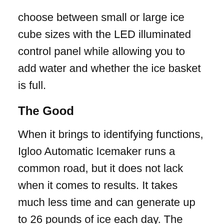choose between small or large ice cube sizes with the LED illuminated control panel while allowing you to add water and whether the ice basket is full.
The Good
When it brings to identifying functions, Igloo Automatic Icemaker runs a common road, but it does not lack when it comes to results. It takes much less time and can generate up to 26 pounds of ice each day. The broad transparent cover helps to track the machine. If you are looking for something that gets results, this device is extremely cost-effective and the best